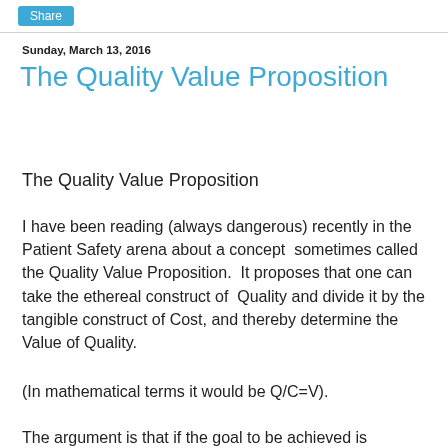Share
Sunday, March 13, 2016
The Quality Value Proposition
The Quality Value Proposition
I have been reading (always dangerous) recently in the Patient Safety arena about a concept  sometimes called the Quality Value Proposition.  It proposes that one can take the ethereal construct of  Quality and divide it by the tangible construct of Cost, and thereby determine the Value of Quality.
(In mathematical terms it would be Q/C=V).
The argument is that if the goal to be achieved is